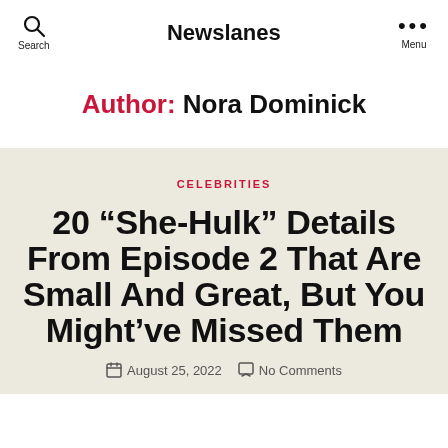Newslanes
Author: Nora Dominick
CELEBRITIES
20 “She-Hulk” Details From Episode 2 That Are Small And Great, But You Might’ve Missed Them
August 25, 2022   No Comments